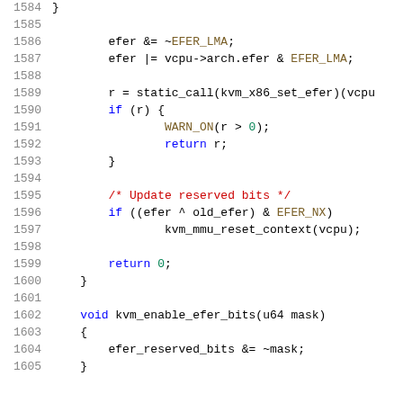[Figure (screenshot): Source code listing in C (Linux kernel KVM code), lines 1584-1605, with syntax highlighting. Shows code for setting EFER register bits and kvm_enable_efer_bits function.]